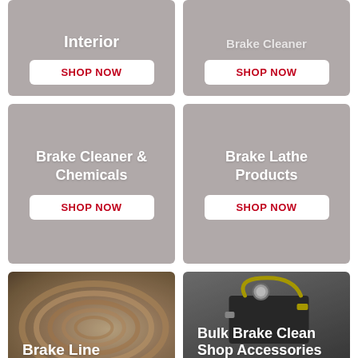[Figure (illustration): Partial card showing 'Interior' category with a SHOP NOW button, gray background, cropped at top]
[Figure (illustration): Partial card showing 'Brake Cleaner' category (text partially cropped) with a SHOP NOW button, gray background]
[Figure (illustration): Full card: Brake Cleaner & Chemicals category with SHOP NOW button, gray background]
[Figure (illustration): Full card: Brake Lathe Products category with SHOP NOW button, gray background]
[Figure (photo): Partial card showing a coil of brake line tubing (copper/brown color) with 'Brake Line' text overlay, cropped at bottom]
[Figure (photo): Partial card showing brake cleaning shop equipment (yellow hose, pressure gauge, dark metal box) with 'Bulk Brake Clean Shop Accessories' text overlay, cropped at bottom]